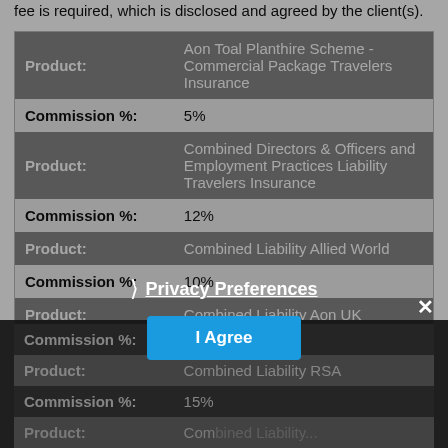fee is required, which is disclosed and agreed by the client(s).
| Product: | Commission %: |
| --- | --- |
| Aon Toal Planthire Scheme - Commercial Package Travelers Insurance |  |
|  | 5% |
| Combined Directors & Officers and Employment Practices Liability Travelers Insurance |  |
|  | 12% |
| Combined Liability Allied World |  |
|  | 10% |
| Combined Liability Aon UK |  |
|  | 8% |
| Combined Liability RSA |  |
|  | 15% |
| Combined Liability... |  |
Privacy Preferences
I Agree